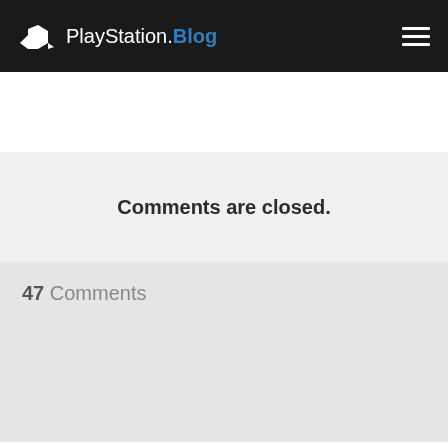PlayStation.Blog
Comments are closed.
47 Comments
Trending Stories